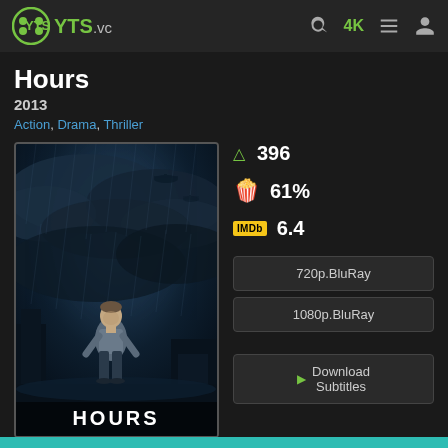YTS.vc — navigation bar with logo, search, 4K, list, and user icons
Hours
2013
Action, Drama, Thriller
[Figure (photo): Movie poster for 'Hours' (2013) showing a man standing in stormy rain with dramatic dark clouds and helicopters in background, with HOURS text at bottom]
396
61%
6.4
720p.BluRay
1080p.BluRay
Download Subtitles